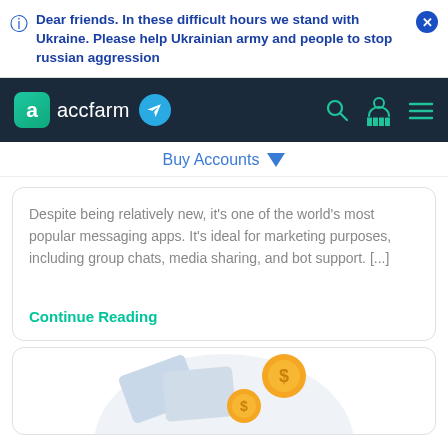Dear friends. In these difficult hours we stand with Ukraine. Please help Ukrainian army and people to stop russian aggression
[Figure (screenshot): accfarm website navigation bar with logo, telegram icon, search, user, and menu icons]
Buy Accounts
Despite being relatively new, it's one of the world's most popular messaging apps. It's ideal for marketing purposes, including group chats, media sharing, and bot support. [...]
Continue Reading
[Figure (illustration): Partial illustration showing coins and cards at the bottom of the page]